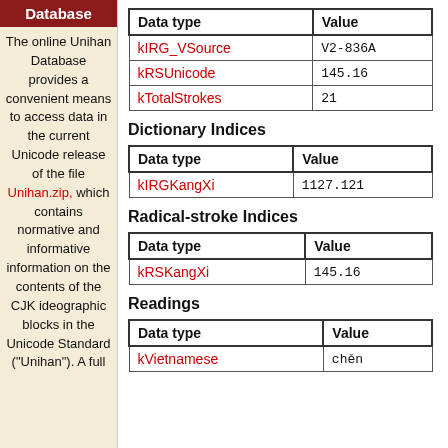Database
The online Unihan Database provides a convenient means to access data in the current Unicode release of the file Unihan.zip, which contains normative and informative information on the contents of the CJK ideographic blocks in the Unicode Standard ("Unihan"). A full
| Data type | Value |
| --- | --- |
| kIRG_VSource | V2-836A |
| kRSUnicode | 145.16 |
| kTotalStrokes | 21 |
Dictionary Indices
| Data type | Value |
| --- | --- |
| kIRGKangXi | 1127.121 |
Radical-stroke Indices
| Data type | Value |
| --- | --- |
| kRSKangXi | 145.16 |
Readings
| Data type | Value |
| --- | --- |
| kVietnamese | chěn |